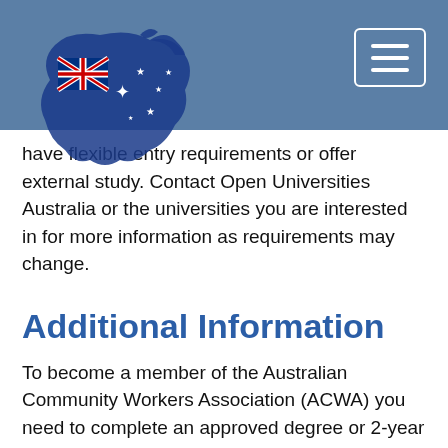[Figure (logo): Australian flag mapped onto outline of Australia continent, used as website logo]
have flexible entry requirements or offer external study. Contact Open Universities Australia or the universities you are interested in for more information as requirements may change.
Additional Information
To become a member of the Australian Community Workers Association (ACWA) you need to complete an approved degree or 2-year diploma in community services work, human services community welfare, community development or a similar discipline that is approved by ACWA. Contact the association for further information and a current list of approved